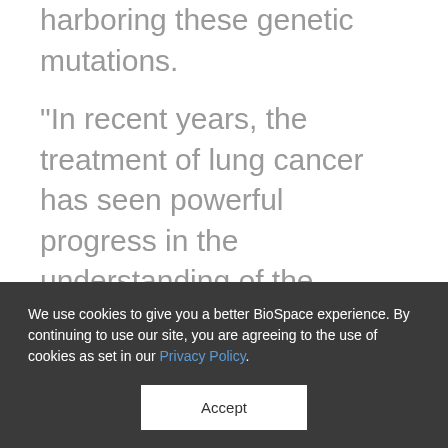harboring these genetic mutations.
"In recent years, the treatment of lung cancer has seen powerful progress in the understanding of the genetic mutations that lead to tumor growth, resistance and progression," said Andrea Ferris, President and CEO of LUNGevity. "The availability of a new precision medicine for NSCLC with METex14 skipping alterations advances patient access to targeted treatment and
We use cookies to give you a better BioSpace experience. By continuing to use our site, you are agreeing to the use of cookies as set in our Privacy Policy.
Accept